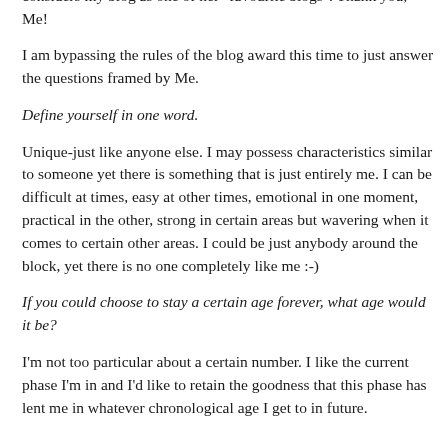indeed flattering to know that someone who writes so well considers my blog as one of her "favourite blogs". Thank you, Me!
I am bypassing the rules of the blog award this time to just answer the questions framed by Me.
Define yourself in one word.
Unique-just like anyone else. I may possess characteristics similar to someone yet there is something that is just entirely me. I can be difficult at times, easy at other times, emotional in one moment, practical in the other, strong in certain areas but wavering when it comes to certain other areas. I could be just anybody around the block, yet there is no one completely like me :-)
If you could choose to stay a certain age forever, what age would it be?
I'm not too particular about a certain number. I like the current phase I'm in and I'd like to retain the goodness that this phase has lent me in whatever chronological age I get to in future.